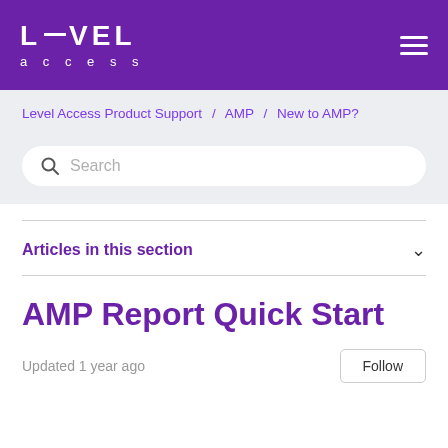LEVEL access
Level Access Product Support / AMP / New to AMP?
Search
Articles in this section
AMP Report Quick Start
Updated 1 year ago